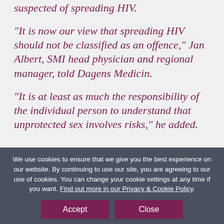suspected of spreading HIV.
“It is now our view that spreading HIV should not be classified as an offence,” Jan Albert, SMI head physician and regional manager, told Dagens Medicin.
“It is at least as much the responsibility of the individual person to understand that unprotected sex involves risks,” he added.
We use cookies to ensure that we give you the best experience on our website. By continuing to use our site, you are agreeing to our use of cookies. You can change your cookie settings at any time if you want. Find out more in our Privacy & Cookie Policy.